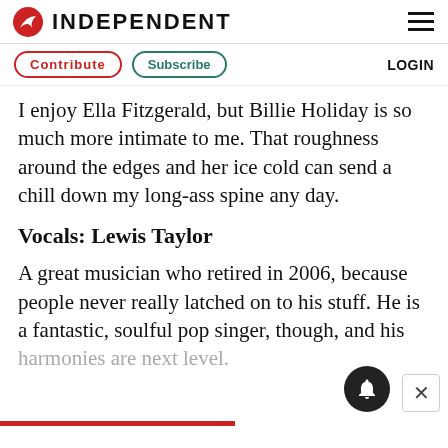INDEPENDENT
Contribute  Subscribe  LOGIN
I enjoy Ella Fitzgerald, but Billie Holiday is so much more intimate to me. That roughness around the edges and her ice cold can send a chill down my long-ass spine any day.
Vocals: Lewis Taylor
A great musician who retired in 2006, because people never really latched on to his stuff. He is a fantastic, soulful pop singer, though, and his harmonies are next level.